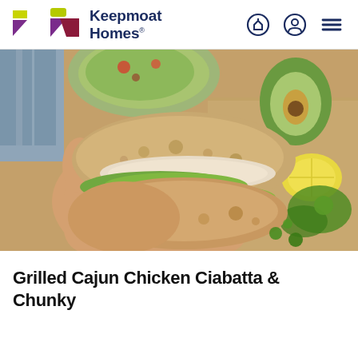Keepmoat Homes
[Figure (photo): A hand holding a grilled Cajun chicken ciabatta sandwich with lettuce, avocado salsa filling. Background shows a wooden cutting board with avocado, lemon, herbs, and a bowl of salsa.]
Grilled Cajun Chicken Ciabatta & Chunky